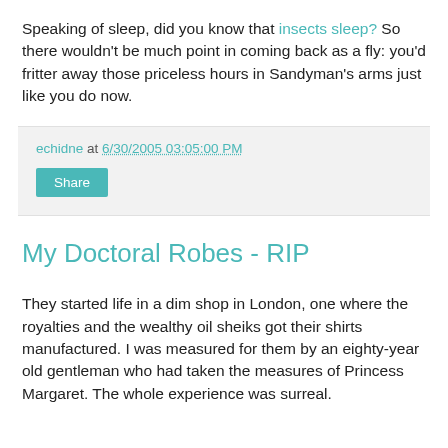Speaking of sleep, did you know that insects sleep? So there wouldn't be much point in coming back as a fly: you'd fritter away those priceless hours in Sandyman's arms just like you do now.
echidne at 6/30/2005 03:05:00 PM
Share
My Doctoral Robes - RIP
They started life in a dim shop in London, one where the royalties and the wealthy oil sheiks got their shirts manufactured. I was measured for them by an eighty-year old gentleman who had taken the measures of Princess Margaret. The whole experience was surreal.